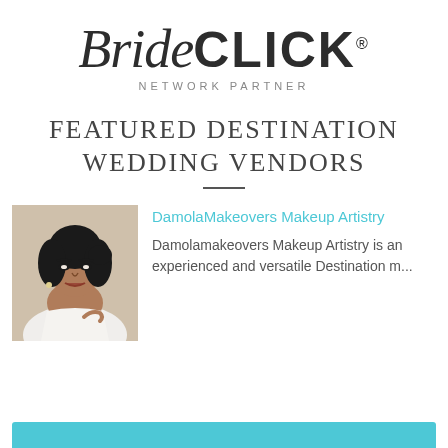[Figure (logo): BrideCLICK Network Partner logo with italic 'Bride' and bold 'CLICK' text]
NETWORK PARTNER
Featured Destination Wedding Vendors
[Figure (photo): Portrait of a woman with dark hair, wearing a white robe, with professional makeup]
DamolaMakeovers Makeup Artistry
Damolamakeovers Makeup Artistry is an experienced and versatile Destination m...